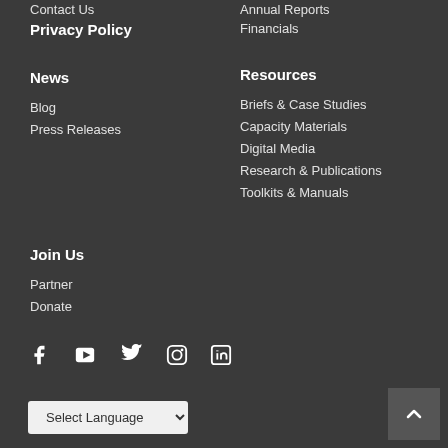Contact Us
Privacy Policy
Annual Reports
Financials
News
Resources
Blog
Press Releases
Briefs & Case Studies
Capacity Materials
Digital Media
Research & Publications
Toolkits & Manuals
Join Us
Partner
Donate
[Figure (infographic): Social media icons row: Facebook, YouTube, Twitter, Instagram, LinkedIn]
Select Language